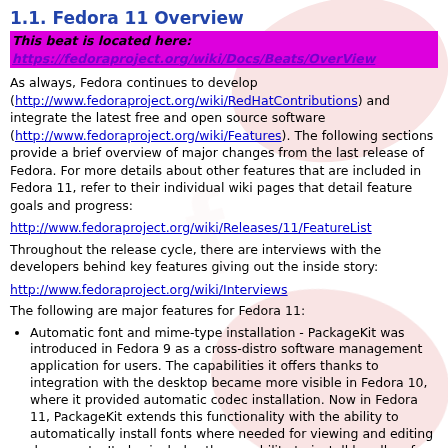1.1. Fedora 11 Overview
This beat is located here: https://fedoraproject.org/wiki/Docs/Beats/OverView
As always, Fedora continues to develop (http://www.fedoraproject.org/wiki/RedHatContributions) and integrate the latest free and open source software (http://www.fedoraproject.org/wiki/Features). The following sections provide a brief overview of major changes from the last release of Fedora. For more details about other features that are included in Fedora 11, refer to their individual wiki pages that detail feature goals and progress:
http://www.fedoraproject.org/wiki/Releases/11/FeatureList
Throughout the release cycle, there are interviews with the developers behind key features giving out the inside story:
http://www.fedoraproject.org/wiki/Interviews
The following are major features for Fedora 11:
Automatic font and mime-type installation - PackageKit was introduced in Fedora 9 as a cross-distro software management application for users. The capabilities it offers thanks to integration with the desktop became more visible in Fedora 10, where it provided automatic codec installation. Now in Fedora 11, PackageKit extends this functionality with the ability to automatically install fonts where needed for viewing and editing documents. It also includes the capability to install handlers for specific content types as needed. Some work is still being completed to provide automatic installation of applications.
Volume Control - Currently, people using Fedora have to go through many